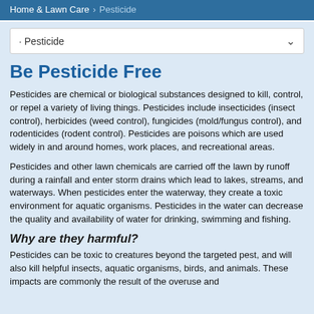Home & Lawn Care › Pesticide
· Pesticide
Be Pesticide Free
Pesticides are chemical or biological substances designed to kill, control, or repel a variety of living things. Pesticides include insecticides (insect control), herbicides (weed control), fungicides (mold/fungus control), and rodenticides (rodent control). Pesticides are poisons which are used widely in and around homes, work places, and recreational areas.
Pesticides and other lawn chemicals are carried off the lawn by runoff during a rainfall and enter storm drains which lead to lakes, streams, and waterways. When pesticides enter the waterway, they create a toxic environment for aquatic organisms. Pesticides in the water can decrease the quality and availability of water for drinking, swimming and fishing.
Why are they harmful?
Pesticides can be toxic to creatures beyond the targeted pest, and will also kill helpful insects, aquatic organisms, birds, and animals. These impacts are commonly the result of the overuse and